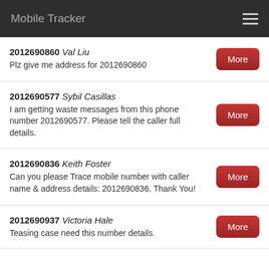Mobile Tracker
2012690860 Val Liu
Plz give me address for 2012690860
2012690577 Sybil Casillas
I am getting waste messages from this phone number 2012690577. Please tell the caller full details.
2012690836 Keith Foster
Can you please Trace mobile number with caller name & address details: 2012690836. Thank You!
2012690937 Victoria Hale
Teasing case need this number details.